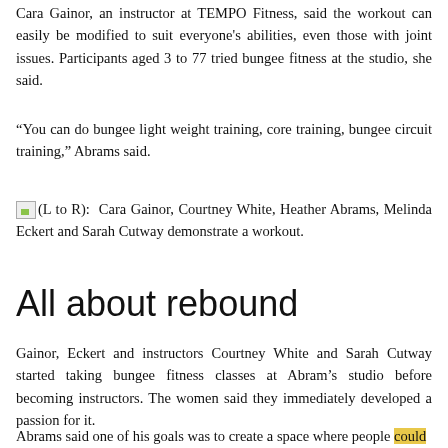Cara Gainor, an instructor at TEMPO Fitness, said the workout can easily be modified to suit everyone's abilities, even those with joint issues. Participants aged 3 to 77 tried bungee fitness at the studio, she said.
“You can do bungee light weight training, core training, bungee circuit training,” Abrams said.
(L to R): Cara Gainor, Courtney White, Heather Abrams, Melinda Eckert and Sarah Cutway demonstrate a workout.
All about rebound
Gainor, Eckert and instructors Courtney White and Sarah Cutway started taking bungee fitness classes at Abram’s studio before becoming instructors. The women said they immediately developed a passion for it.
Abrams said one of his goals was to create a space where people could